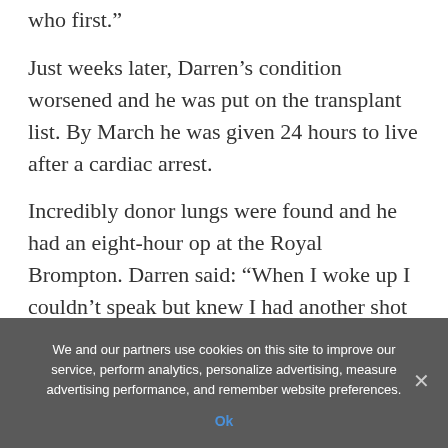who first.”
Just weeks later, Darren’s condition worsened and he was put on the transplant list. By March he was given 24 hours to live after a cardiac arrest.
Incredibly donor lungs were found and he had an eight-hour op at the Royal Brompton. Darren said: “When I woke up I couldn’t speak but knew I had another shot at life. So I asked for Lauren by making an L shape with my hand.”
The donor’s name was from “Mill
We and our partners use cookies on this site to improve our service, perform analytics, personalize advertising, measure advertising performance, and remember website preferences.
Ok